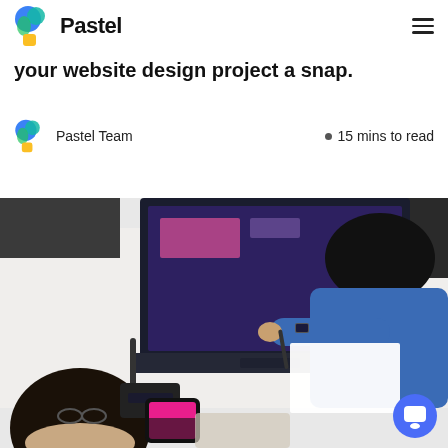Pastel
your website design project a snap.
Pastel Team  •  15 mins to read
[Figure (photo): Overhead view of two people collaborating at a desk with a laptop, papers, a phone, and another device. One person on the left has dark hair and is holding a phone; the person on the right is in a blue shirt and appears to be writing on paper.]